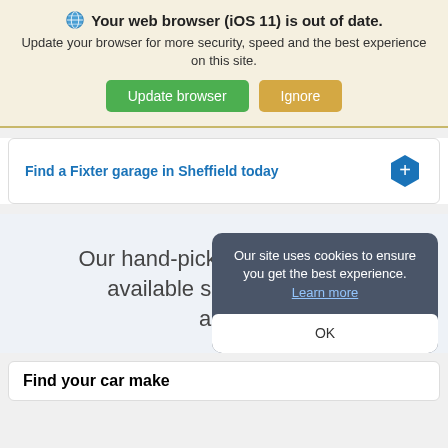[Figure (screenshot): Browser update notification banner with globe icon, bold title 'Your web browser (iOS 11) is out of date.', subtitle text, green 'Update browser' button and tan 'Ignore' button.]
Find a Fixter garage in Sheffield today
Our hand-picked garages and available services in the area.
Our site uses cookies to ensure you get the best experience. Learn more
OK
Find your car make